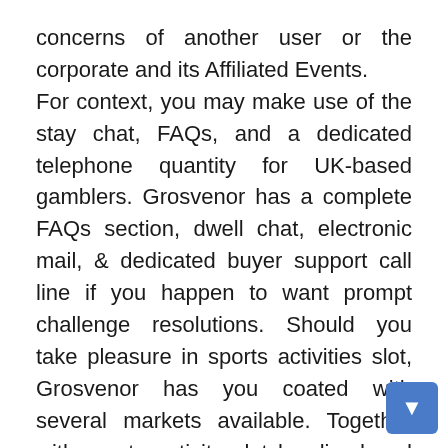concerns of another user or the corporate and its Affiliated Events.

For context, you may make use of the stay chat, FAQs, and a dedicated telephone quantity for UK-based gamblers. Grosvenor has a complete FAQs section, dwell chat, electronic mail, & dedicated buyer support call line if you happen to want prompt challenge resolutions. Should you take pleasure in sports activities slot, Grosvenor has you coated with several markets available. Together with sports activity slot legalized and applied in 2018, this goes a great distance to provide users safe surroundings online and cope with Nevada's regulation, and open opportunities for similar movements in different states shortly. These